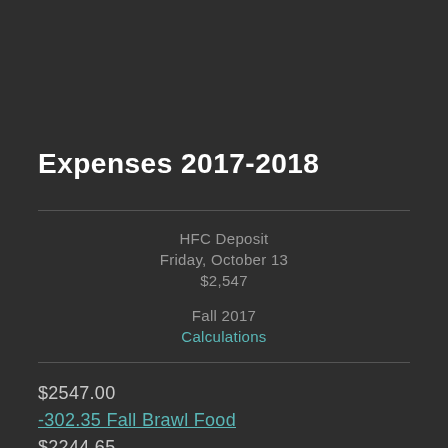Expenses 2017-2018
HFC Deposit
Friday, October 13
$2,547
Fall 2017
Calculations
$2547.00
-302.35 Fall Brawl Food
$2244.65